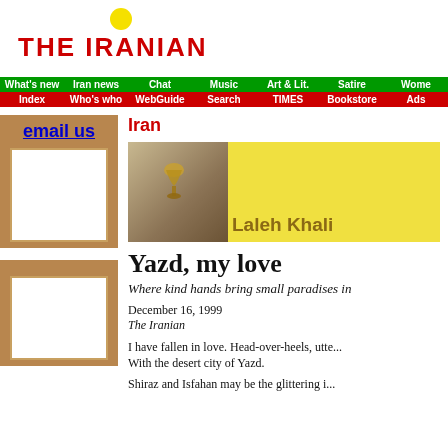[Figure (logo): The Iranian website logo with yellow sun dot and red THE IRANIAN text]
[Figure (screenshot): Navigation bar with green and red buttons: What's new, Iran news, Chat, Music, Art & Lit., Satire, Women, Index, Who's who, WebGuide, Search, TIMES, Bookstore, Ads]
email us
Iran
[Figure (illustration): Artwork thumbnail showing a chalice/goblet on textured background, next to yellow banner with author name Laleh Khali...]
Yazd, my love
Where kind hands bring small paradises in...
December 16, 1999
The Iranian
I have fallen in love. Head-over-heels, utte... With the desert city of Yazd.
Shiraz and Isfahan may be the glittering i...